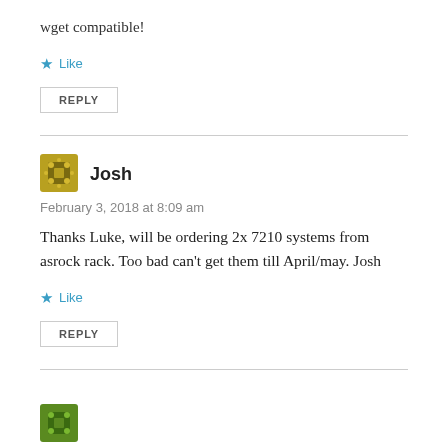wget compatible!
Like
REPLY
Josh
February 3, 2018 at 8:09 am
Thanks Luke, will be ordering 2x 7210 systems from asrock rack. Too bad can't get them till April/may. Josh
Like
REPLY